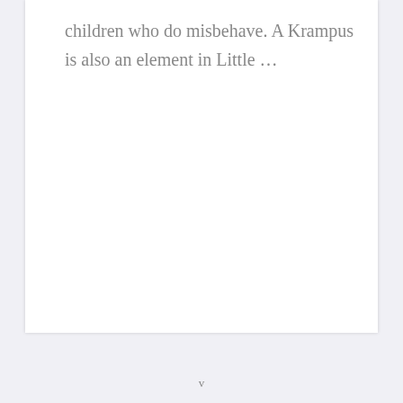children who do misbehave. A Krampus is also an element in Little …
v